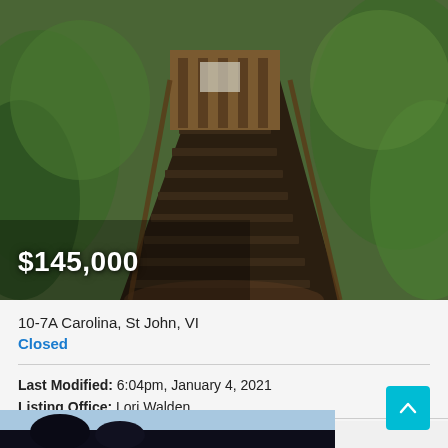[Figure (photo): Outdoor photo of a wooden staircase leading up through dense tropical greenery to a wooden structure/deck. Stone or wooden steps surrounded by lush plants and vegetation.]
$145,000
10-7A Carolina, St John, VI
Closed
Last Modified: 6:04pm, January 4, 2021
Listing Office: Lori Walden
[Figure (photo): Partial view of a second photo showing sky and dark tree silhouettes at the bottom of the page.]